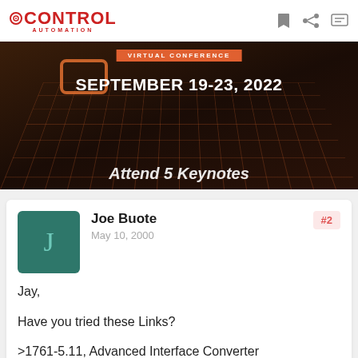CONTROL AUTOMATION
[Figure (screenshot): Control Automation Virtual Conference banner image showing 'SEPTEMBER 19-23, 2022' text over a dark circuit board background with 'Attend 5 Keynotes' text at bottom]
Joe Buote
May 10, 2000
#2
Jay,

Have you tried these Links?

>1761-5.11, Advanced Interface Converter